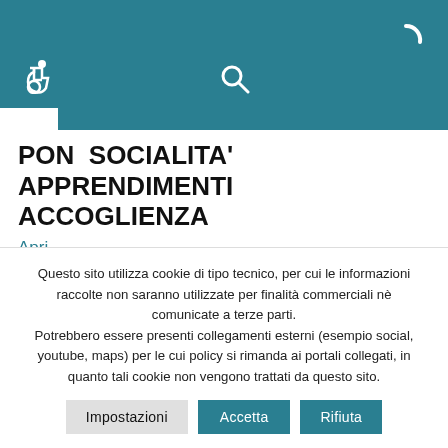[Figure (screenshot): Teal navigation header bar with wheelchair accessibility icon, search icon, and loading spinner icon on dark teal background]
PON  SOCIALITA' APPRENDIMENTI ACCOGLIENZA
Apri
EESD Digital Board
Questo sito utilizza cookie di tipo tecnico, per cui le informazioni raccolte non saranno utilizzate per finalità commerciali nè comunicate a terze parti.
Potrebbero essere presenti collegamenti esterni (esempio social, youtube, maps) per le cui policy si rimanda ai portali collegati, in quanto tali cookie non vengono trattati da questo sito.
Impostazioni   Accetta   Rifiuta